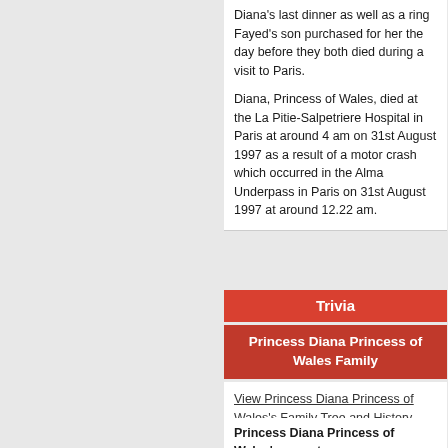Diana's last dinner as well as a ring Fayed's son purchased for her the day before they both died during a visit to Paris.

Diana, Princess of Wales, died at the La Pitie-Salpetriere Hospital in Paris at around 4 am on 31st August 1997 as a result of a motor crash which occurred in the Alma Underpass in Paris on 31st August 1997 at around 12.22 am.
Trivia
Princess Diana Princess of Wales Family
View Princess Diana Princess of Wales's Family Tree and History, Ancestry and Genealogy
Princess Diana Princess of Wales's parents:
Princess Diana Princess of Wales's step-mother was Raine Spencer